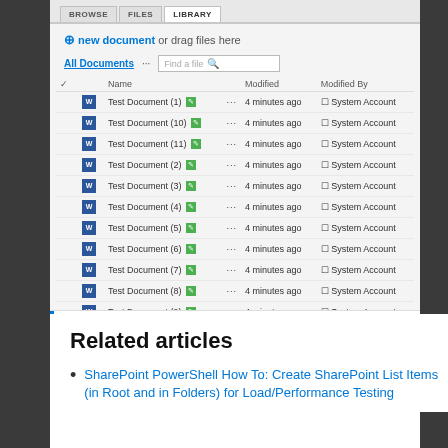[Figure (screenshot): SharePoint document library screenshot showing BROWSE/FILES/LIBRARY tabs, 'new document or drag files here' link, All Documents view with Find a file search box, and a table listing Test Document (1) through Test Document (11) with Modified and Modified By columns showing '4 minutes ago' and 'System Account' for each row.]
Related articles
SharePoint PowerShell How To: Create SharePoint List Items (in Root and in Folders) for Load/Performance Testing